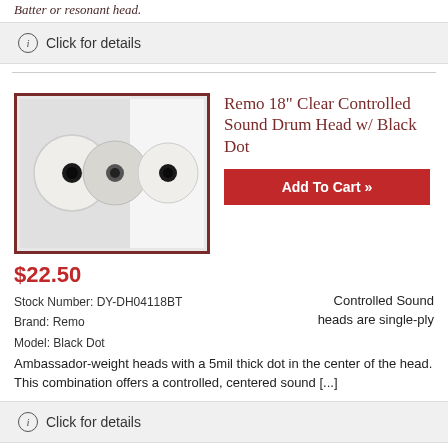Batter or resonant head.
ⓘ Click for details
[Figure (photo): Three Remo drum heads with black dots, shown side by side]
Remo 18" Clear Controlled Sound Drum Head w/ Black Dot
Add To Cart »
$22.50
Stock Number: DY-DH04118T
Brand: Remo
Model: Black Dot
Controlled Sound heads are single-ply Ambassador-weight heads with a 5mil thick dot in the center of the head. This combination offers a controlled, centered sound [...]
ⓘ Click for details
[Figure (photo): Attack drum head, black, partial view]
Attack 14" 1Ply Medium Black Drum Head